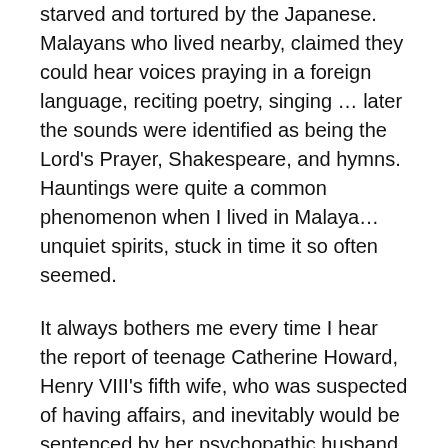starved and tortured by the Japanese. Malayans who lived nearby, claimed they could hear voices praying in a foreign language, reciting poetry, singing … later the sounds were identified as being the Lord's Prayer, Shakespeare, and hymns. Hauntings were quite a common phenomenon when I lived in Malaya… unquiet spirits, stuck in time it so often seemed.
It always bothers me every time I hear the report of teenage Catherine Howard, Henry VIII's fifth wife, who was suspected of having affairs, and inevitably would be sentenced by her psychopathic husband to be beheaded, running along a corridor at Hampton Court shrieking in terror when she was arrested. She wrongly thought the King was in the Chapel, and wanted to beg for mercy.  Her ghost is said to still be seen or heard in this corridor, shrieking in terror. Why don't those who do rescue work,